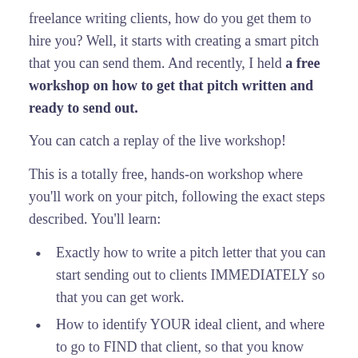freelance writing clients, how do you get them to hire you? Well, it starts with creating a smart pitch that you can send them. And recently, I held a free workshop on how to get that pitch written and ready to send out.
You can catch a replay of the live workshop!
This is a totally free, hands-on workshop where you'll work on your pitch, following the exact steps described. You'll learn:
Exactly how to write a pitch letter that you can start sending out to clients IMMEDIATELY so that you can get work.
How to identify YOUR ideal client, and where to go to FIND that client, so that you know exactly WHERE to send your pitch.